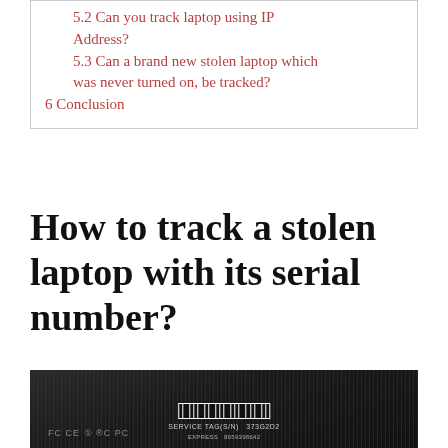5.2 Can you track laptop using IP Address?
5.3 Can a brand new stolen laptop which was never turned on, be tracked?
6 Conclusion
How to track a stolen laptop with its serial number?
[Figure (photo): Close-up photograph of the bottom of a laptop showing a service tag label with barcode, text reading SERVICE TAG(S/N) 373G2D2, EXPRESS 8959398642, and regulatory marks FCC CE.]